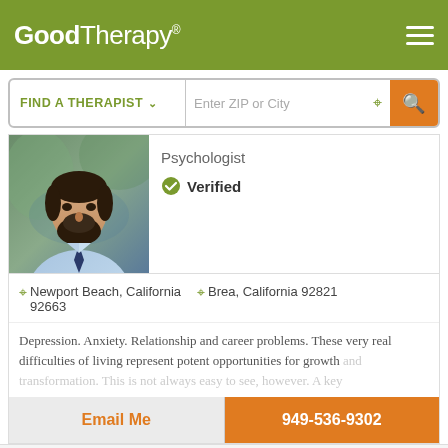GoodTherapy®
FIND A THERAPIST  Enter ZIP or City
Psychologist
Verified
[Figure (photo): Headshot of a bearded man wearing a light blue shirt and dark tie, outdoors with blurred background]
Newport Beach, California 92663   Brea, California 92821
Depression. Anxiety. Relationship and career problems. These very real difficulties of living represent potent opportunities for growth and transformation. This is not always easy to see, however. A key
Email Me
949-536-9302
GoodTherapy uses cookies to personalize content and ads to provide better services for our users and to analyze our traffic. By continuing to use this site you consent to our cookies.